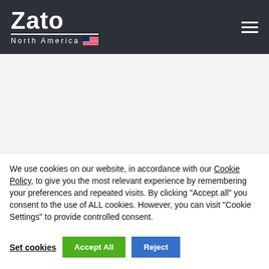[Figure (logo): Zato North America logo with white text on dark background, hamburger menu icon top right]
We use cookies on our website, in accordance with our Cookie Policy, to give you the most relevant experience by remembering your preferences and repeated visits. By clicking "Accept all" you consent to the use of ALL cookies. However, you can visit "Cookie Settings" to provide controlled consent.
Set cookies | Accept All | Reject